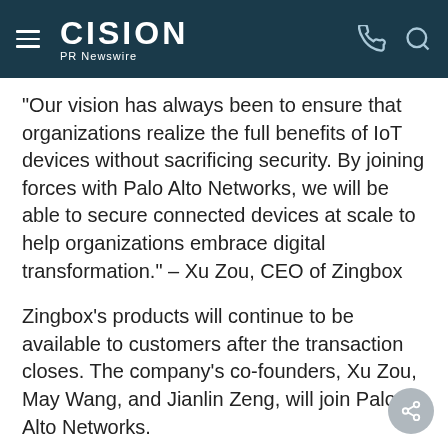CISION PR Newswire
"Our vision has always been to ensure that organizations realize the full benefits of IoT devices without sacrificing security. By joining forces with Palo Alto Networks, we will be able to secure connected devices at scale to help organizations embrace digital transformation." – Xu Zou, CEO of Zingbox
Zingbox's products will continue to be available to customers after the transaction closes. The company's co-founders, Xu Zou, May Wang, and Jianlin Zeng, will join Palo Alto Networks.